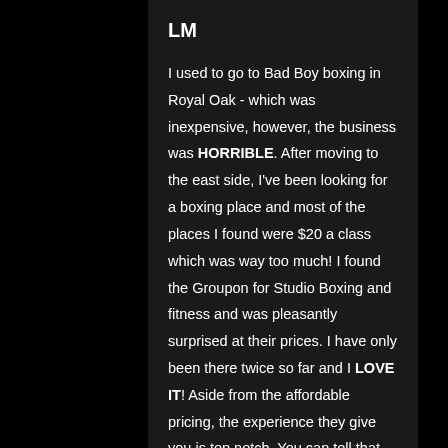LM
I used to go to Bad Boy boxing in Royal Oak - which was inexpensive, however, the business was HORRIBLE. After moving to the east side, I've been looking for a boxing place and most of the places I found were $20 a class which was way too much! I found the Groupon for Studio Boxing and fitness and was pleasantly surprised at their prices. I have only been there twice so far and I LOVE IT! Aside from the affordable pricing, the experience they give you is top notch. You can tell that every one of the instructors love what they do and CARE about your results. They